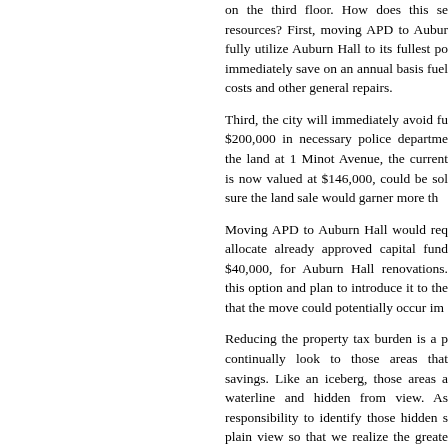on the third floor. How does this se resources? First, moving APD to Aubur fully utilize Auburn Hall to its fullest po immediately save on an annual basis fuel costs and other general repairs.
Third, the city will immediately avoid f $200,000 in necessary police departme the land at 1 Minot Avenue, the current is now valued at $146,000, could be so sure the land sale would garner more th
Moving APD to Auburn Hall would req allocate already approved capital fun $40,000, for Auburn Hall renovations. this option and plan to introduce it to the that the move could potentially occur im
Reducing the property tax burden is a p continually look to those areas that savings. Like an iceberg, those areas a waterline and hidden from view. As responsibility to identify those hidden s plain view so that we realize the greate do our part to reduce the property tax bu
General Assistance. Many people que General Assistance, but most would be little Auburn spends. According to the M Services, Auburn pays $3.14 per capita